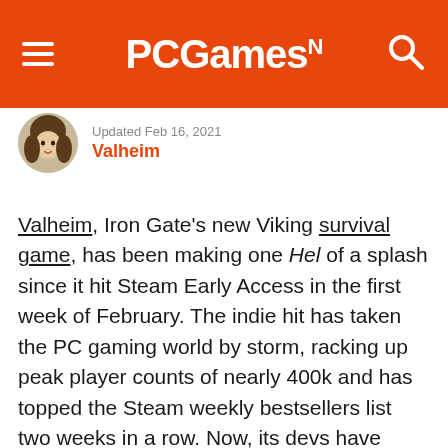PCGamesN
Updated Feb 16, 2021
Valheim
Valheim, Iron Gate's new Viking survival game, has been making one Hel of a splash since it hit Steam Early Access in the first week of February. The indie hit has taken the PC gaming world by storm, racking up peak player counts of nearly 400k and has topped the Steam weekly bestsellers list two weeks in a row. Now, its devs have announced the new PC game's already shifted a staggering three million copies.